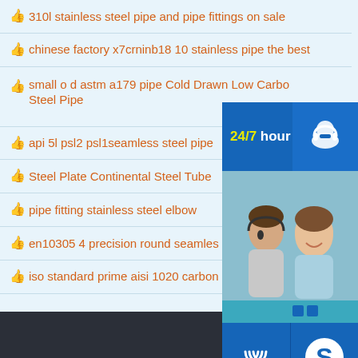310l stainless steel pipe and pipe fittings on sale
chinese factory x7crninb18 10 stainless pipe the best
small o d astm a179 pipe Cold Drawn Low Carbon Steel Pipe
api 5l psl2 psl1seamless steel pipe
Steel Plate Continental Steel Tube
pipe fitting stainless steel elbow
en10305 4 precision round seamless
iso standard prime aisi 1020 carbon steel round pipe
[Figure (screenshot): 24/7 hour customer support chat widget with headset icon, photo of customer service agents, phone icon, Skype icon, and 'Click to chat' button]